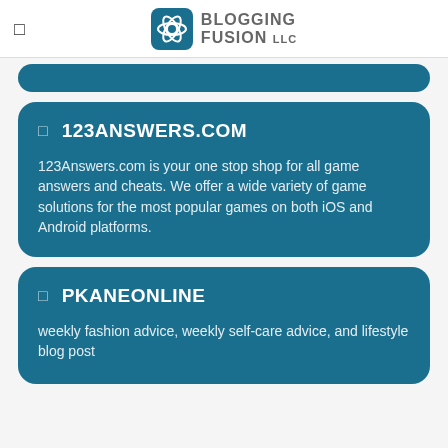BLOGGING FUSION LLC
123ANSWERS.COM
123Answers.com is your one stop shop for all game answers and cheats. We offer a wide variety of game solutions for the most popular games on both iOS and Android platforms.
PKANEONLINE
weekly fashion advice, weekly self-care advice, and lifestyle blog post